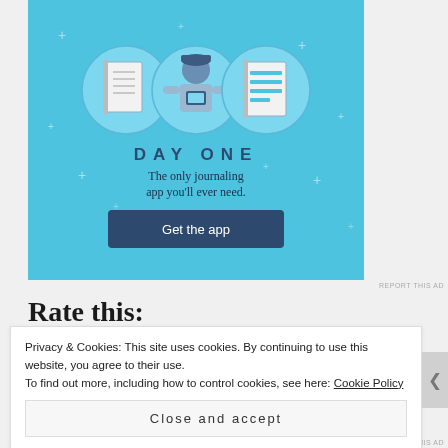[Figure (illustration): Day One journaling app advertisement on a light blue background. Shows three circular icons: a notebook, a person holding a phone, and a checklist. Text reads 'DAY ONE - The only journaling app you'll ever need.' with a 'Get the app' button.]
REPORT THIS AD
Rate this:
Privacy & Cookies: This site uses cookies. By continuing to use this website, you agree to their use.
To find out more, including how to control cookies, see here: Cookie Policy
Close and accept
REPORT THIS AD